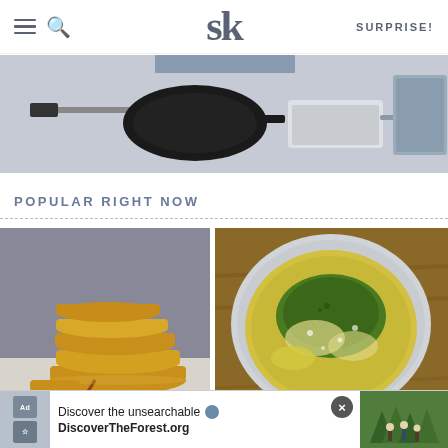SK — SURPRISE!
[Figure (photo): Kitchen tools banner showing a spatula, black cast iron skillet, white loaf pan, grey knife, and grey storage box on a light grey surface]
POPULAR RIGHT NOW
[Figure (photo): Stack of golden cornmeal pancakes on a white plate with syrup dripping, grey background]
[Figure (photo): Overhead view of a bowl of creamy corn dish topped with green herbs and parmesan cheese]
[Figure (photo): Advertisement banner: Discover the unsearchable — DiscoverTheForest.org, with a photo of hikers in a green forest]